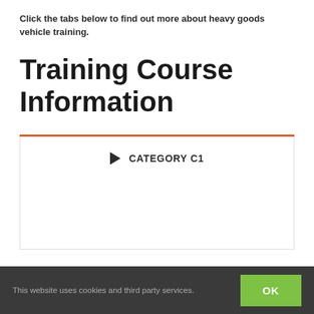Click the tabs below to find out more about heavy goods vehicle training.
Training Course Information
▶ CATEGORY C1
This website uses cookies and third party services.